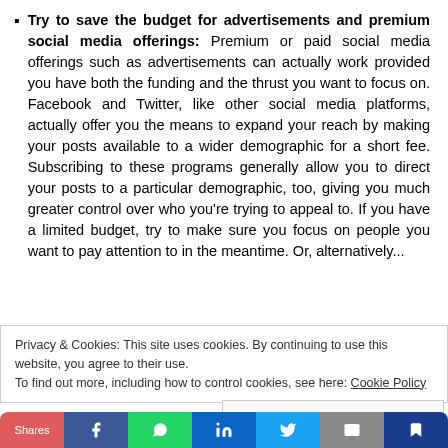Try to save the budget for advertisements and premium social media offerings: Premium or paid social media offerings such as advertisements can actually work provided you have both the funding and the thrust you want to focus on. Facebook and Twitter, like other social media platforms, actually offer you the means to expand your reach by making your posts available to a wider demographic for a short fee. Subscribing to these programs generally allow you to direct your posts to a particular demographic, too, giving you much greater control over who you're trying to appeal to. If you have a limited budget, try to make sure you focus on people you want to pay attention to in the meantime. Or, alternatively...
Privacy & Cookies: This site uses cookies. By continuing to use this website, you agree to their use.
To find out more, including how to control cookies, see here: Cookie Policy
Close and accept
Shares